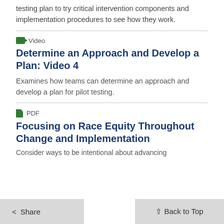testing plan to try critical intervention components and implementation procedures to see how they work.
Video
Determine an Approach and Develop a Plan: Video 4
Examines how teams can determine an approach and develop a plan for pilot testing.
PDF
Focusing on Race Equity Throughout Change and Implementation
Consider ways to be intentional about advancing